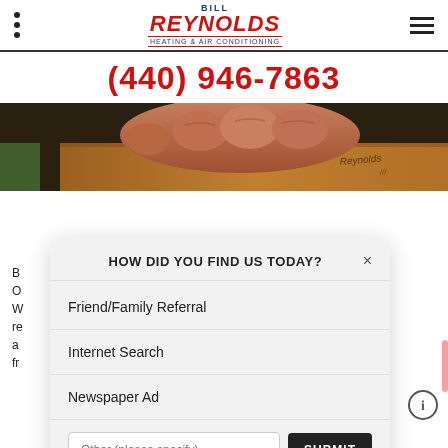Bill Reynolds Heating & Air Conditioning
(440) 946-7863
[Figure (photo): Close-up photo of a person's hand writing or marking on a wooden surface]
HOW DID YOU FIND US TODAY?
Friend/Family Referral
Internet Search
Newspaper Ad
Other (please specify) [input field] SUBMIT